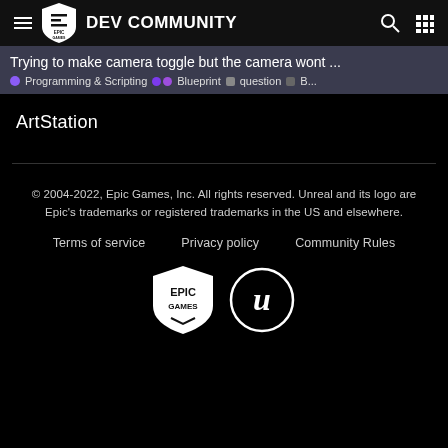Epic Games Dev Community
Trying to make camera toggle but the camera wont ... • Programming & Scripting •• Blueprint ■ question ■ B...
ArtStation
© 2004-2022, Epic Games, Inc. All rights reserved. Unreal and its logo are Epic's trademarks or registered trademarks in the US and elsewhere.
Terms of service   Privacy policy   Community Rules